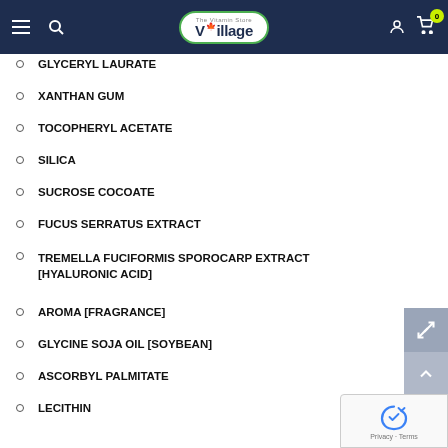Village The Vitamin Store — navigation header
GLYCERYL LAURATE
XANTHAN GUM
TOCOPHERYL ACETATE
SILICA
SUCROSE COCOATE
FUCUS SERRATUS EXTRACT
TREMELLA FUCIFORMIS SPOROCARP EXTRACT [HYALURONIC ACID]
AROMA [FRAGRANCE]
GLYCINE SOJA OIL [SOYBEAN]
ASCORBYL PALMITATE
LECITHIN
BISABOLOL
TOCOPHEROL